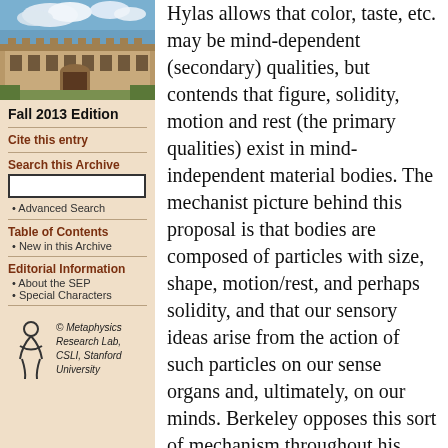[Figure (photo): Photograph of a stone university building with Gothic architecture under a blue sky with clouds]
Fall 2013 Edition
Cite this entry
Search this Archive
Advanced Search
Table of Contents
New in this Archive
Editorial Information
About the SEP
Special Characters
[Figure (logo): Metaphysics Research Lab logo - stylized figure]
© Metaphysics Research Lab, CSLI, Stanford University
Hylas allows that color, taste, etc. may be mind-dependent (secondary) qualities, but contends that figure, solidity, motion and rest (the primary qualities) exist in mind-independent material bodies. The mechanist picture behind this proposal is that bodies are composed of particles with size, shape, motion/rest, and perhaps solidity, and that our sensory ideas arise from the action of such particles on our sense organs and, ultimately, on our minds. Berkeley opposes this sort of mechanism throughout his writings, believing that it engenders skepticism by dictating that bodies are utterly unlike our sensory experience